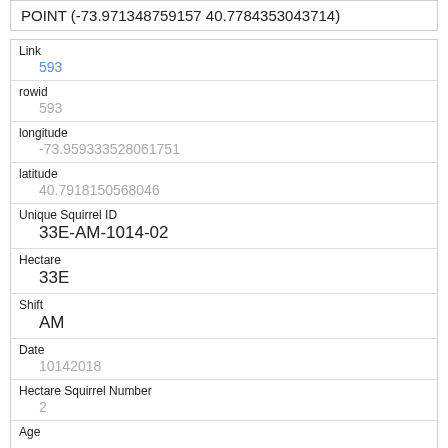POINT (-73.971348759157740.7784353043714)
| Field | Value |
| --- | --- |
| Link | 593 |
| rowid | 593 |
| longitude | -73.959333528061751 |
| latitude | 40.7918150568046 |
| Unique Squirrel ID | 33E-AM-1014-02 |
| Hectare | 33E |
| Shift | AM |
| Date | 10142018 |
| Hectare Squirrel Number | 2 |
| Age |  |